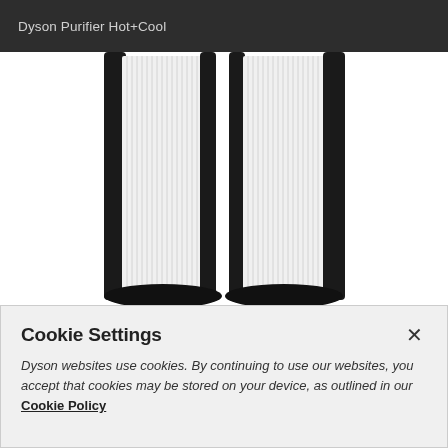Dyson Purifier Hot+Cool
[Figure (photo): Two cylindrical HEPA filter units for Dyson Purifier Hot+Cool, shown side by side with black housing and white pleated filter media, photographed against a white background.]
Add to basket
Cookie Settings
Dyson websites use cookies. By continuing to use our websites, you accept that cookies may be stored on your device, as outlined in our Cookie Policy